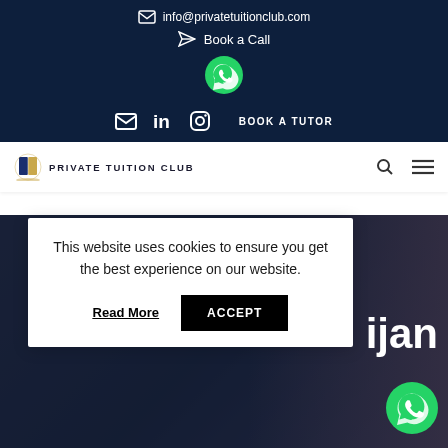info@privatetuitionclub.com
Book a Call
[Figure (logo): WhatsApp icon green circle]
BOOK A TUTOR
PRIVATE TUITION CLUB
This website uses cookies to ensure you get the best experience on our website.
Read More
ACCEPT
[Figure (screenshot): Partial background hero image showing text 'ijan' in white on dark overlay]
[Figure (logo): WhatsApp floating icon bottom right]